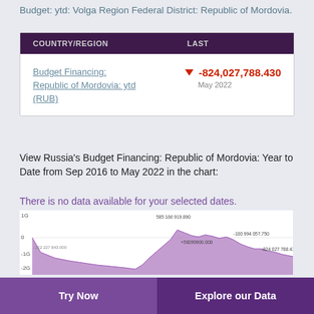Budget: ytd: Volga Region Federal District: Republic of Mordovia.
| COUNTRY/REGION | LAST |
| --- | --- |
| Budget Financing: Republic of Mordovia: ytd (RUB) | ▼ -824,027,788.430
May 2022 |
View Russia's Budget Financing: Republic of Mordovia: Year to Date from Sep 2016 to May 2022 in the chart:
There is no data available for your selected dates.
[Figure (area-chart): Area chart showing Budget Financing Republic of Mordovia ytd (RUB) over time. Chart shows data from Sep 2016 to May 2022. The area is shaded purple/mauve. Y-axis shows values from -2G to 1G. Key labels visible: 1G, 0, -1G, -2G. Annotated values: 585 166 919.890, -222 227 843.000 (approximately), +58099900.000, -100 994 057.750, -824 027 788.430.]
Try Now    Explore our Data